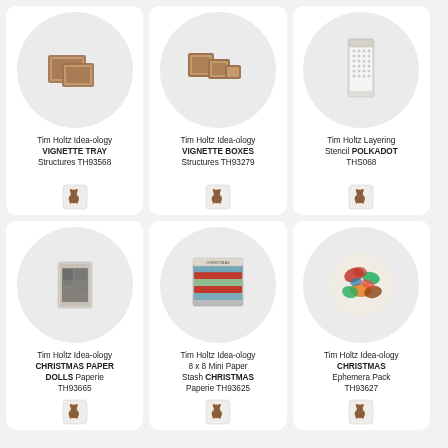[Figure (photo): Tim Holtz Idea-ology Vignette Tray Structures TH93568 product image showing wooden trays]
Tim Holtz Idea-ology VIGNETTE TRAY Structures TH93568
[Figure (logo): Small dog logo]
[Figure (photo): Tim Holtz Idea-ology Vignette Boxes Structures TH93279 product image showing wooden boxes]
Tim Holtz Idea-ology VIGNETTE BOXES Structures TH93279
[Figure (logo): Small dog logo]
[Figure (photo): Tim Holtz Layering Stencil Polkadot THS068 product image]
Tim Holtz Layering Stencil POLKADOT THS068
[Figure (logo): Small dog logo]
[Figure (photo): Tim Holtz Idea-ology Christmas Paper Dolls Paperie TH93665 product image]
Tim Holtz Idea-ology CHRISTMAS PAPER DOLLS Paperie TH93665
[Figure (logo): Small dog logo]
[Figure (photo): Tim Holtz Idea-ology 8x8 Mini Paper Stash Christmas Paperie TH93625 product image]
Tim Holtz Idea-ology 8 x 8 Mini Paper Stash CHRISTMAS Paperie TH93625
[Figure (logo): Small dog logo]
[Figure (photo): Tim Holtz Idea-ology Christmas Ephemera Pack TH93627 product image]
Tim Holtz Idea-ology CHRISTMAS Ephemera Pack TH93627
[Figure (logo): Small dog logo]